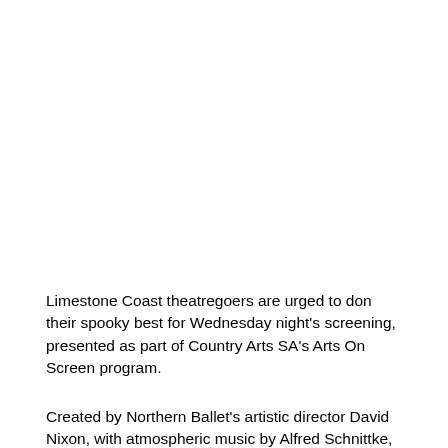Limestone Coast theatregoers are urged to don their spooky best for Wednesday night's screening, presented as part of Country Arts SA's Arts On Screen program.
Created by Northern Ballet's artistic director David Nixon, with atmospheric music by Alfred Schnittke, Arvo Part, Michael Daugherty and Sergei Rachmaninov, Dracula is a